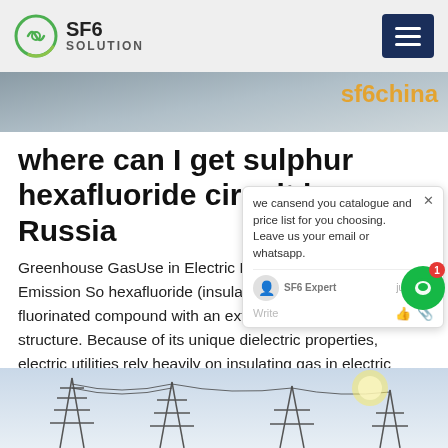SF6 SOLUTION
[Figure (screenshot): Website banner strip with orange text overlay reading 'sf6china']
where can I get sulphur hexafluoride circuit br Russia
Greenhouse GasUse in Electric Power SystemsCommon Emission Sources hexafluoride (insulating gas) is a synthetic fluorinated compound with an extremely stable molecular structure. Because of its unique dielectric properties, electric utilities rely heavily on insulating gas in electric power systems for voltage electrical insulation, current interruption, and arc quenching.
[Figure (screenshot): Chat popup widget showing message: 'we can send you catalogue and price list for you choosing. Leave us your email or whatsapp.' with SF6 Expert agent, just now timestamp, Write input field with thumbs up and paperclip icons.]
[Figure (photo): Bottom photo strip showing electrical power line towers and transmission infrastructure against a bright sky]